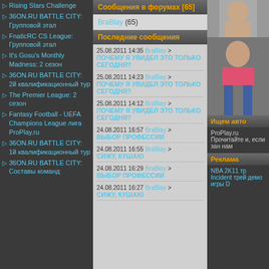Rising Stars Challenge
36ON.RU BATTLE CITY: Групповой этал
FnaticRC CS League: Групповой этал
It's Gosu's Monthly Madness: 2 сезон
36ON.RU BATTLE CITY: 2й квалификационный тур
The Premier League: 2 сезон
Fantasy Football - UEFA Champions League лига ProPlay.ru
36ON.RU BATTLE CITY: 1й квалификационный тур
36ON.RU BATTLE CITY: Составы команд
Сообщения в форумах [65]
BraBlay (65)
Последние сообщения
25.08.2011 14:35 BraBlay > ПОЧЕМУ Я УВИДЕЛ ЭТО ТОЛЬКО СЕГОДНЯ?
25.08.2011 14:23 BraBlay > ПОЧЕМУ Я УВИДЕЛ ЭТО ТОЛЬКО СЕГОДНЯ?
25.08.2011 14:12 BraBlay > ПОЧЕМУ Я УВИДЕЛ ЭТО ТОЛЬКО СЕГОДНЯ?
24.08.2011 16:57 BraBlay > ВЫБОР ПРОФЕССИИ
24.08.2011 16:55 BraBlay > СИЖУ, КУШАЮ
24.08.2011 16:29 BraBlay > ВЫБОР ПРОФЕССИИ
24.08.2011 16:27 BraBlay > СИЖУ, КУШАЮ
[Figure (photo): Photo of a woman in gray top]
[Figure (photo): Photo of a woman in pink top and jeans]
Ищем авто
ProPlay.ru Прочитайте и, если зан нам
Реклама
NBA 2K11 тр Incident трей демо игры D